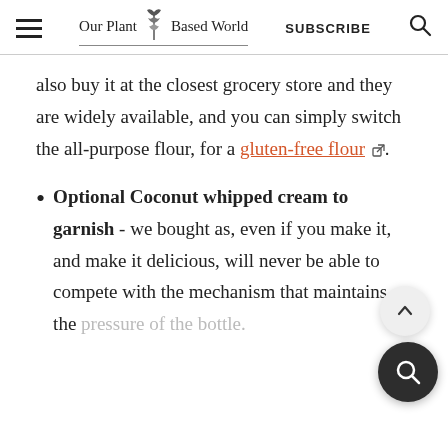Our Plant-Based World | SUBSCRIBE
also buy it at the closest grocery store and they are widely available, and you can simply switch the all-purpose flour, for a gluten-free flour.
Optional Coconut whipped cream to garnish - we bought as, even if you make it, and make it delicious, will never be able to compete with the mechanism that maintains the pressure of the bottle.